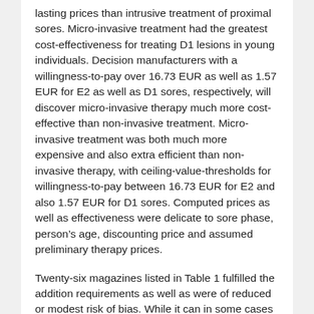lasting prices than intrusive treatment of proximal sores. Micro-invasive treatment had the greatest cost-effectiveness for treating D1 lesions in young individuals. Decision manufacturers with a willingness-to-pay over 16.73 EUR as well as 1.57 EUR for E2 as well as D1 sores, respectively, will discover micro-invasive therapy much more cost-effective than non-invasive treatment. Micro-invasive treatment was both much more expensive and also extra efficient than non-invasive therapy, with ceiling-value-thresholds for willingness-to-pay between 16.73 EUR for E2 and also 1.57 EUR for D1 sores. Computed prices as well as effectiveness were delicate to sore phase, person's age, discounting price and assumed preliminary therapy prices.
Twenty-six magazines listed in Table 1 fulfilled the addition requirements as well as were of reduced or modest risk of bias. While it can in some cases seem like an aggravation, spending the reasonably small amount of time and money on hygiene as well as preventative dental care today will conserve immeasurable expenses tomorrow. According to the ADA record, Oral Health and Health, 38% of people really feel life as a whole is less enjoyable as a result of the bad condition of their mouth